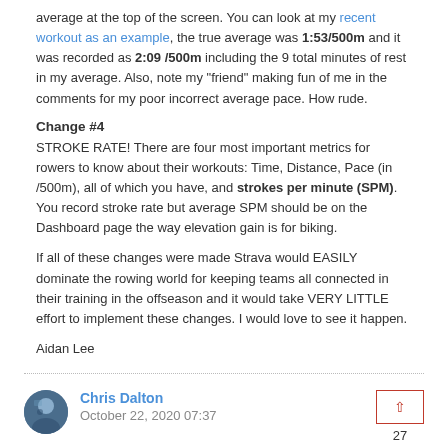average at the top of the screen. You can look at my recent workout as an example, the true average was 1:53/500m and it was recorded as 2:09 /500m including the 9 total minutes of rest in my average. Also, note my "friend" making fun of me in the comments for my poor incorrect average pace. How rude.
Change #4
STROKE RATE! There are four most important metrics for rowers to know about their workouts: Time, Distance, Pace (in /500m), all of which you have, and strokes per minute (SPM). You record stroke rate but average SPM should be on the Dashboard page the way elevation gain is for biking.
If all of these changes were made Strava would EASILY dominate the rowing world for keeping teams all connected in their training in the offseason and it would take VERY LITTLE effort to implement these changes. I would love to see it happen.
Aidan Lee
Chris Dalton
October 22, 2020 07:37